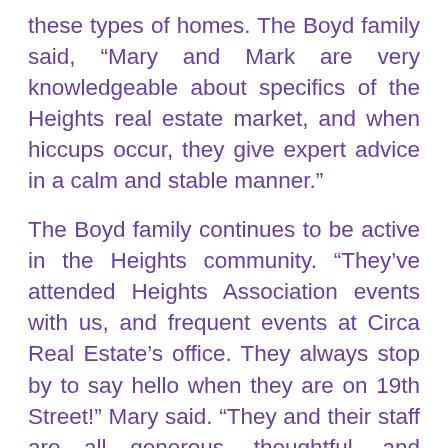these types of homes. The Boyd family said, “Mary and Mark are very knowledgeable about specifics of the Heights real estate market, and when hiccups occur, they give expert advice in a calm and stable manner.”
The Boyd family continues to be active in the Heights community. “They’ve attended Heights Association events with us, and frequent events at Circa Real Estate’s office. They always stop by to say hello when they are on 19th Street!” Mary said. “They and their staff are all generous, thoughtful, and professional, and are strong supporters of their local community,” the Boyd family said, explaining their continued relationship with Circa Real Estate. “We have so much fun at